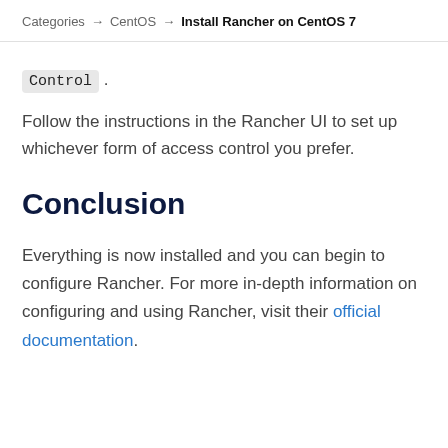Categories → CentOS → Install Rancher on CentOS 7
Control .
Follow the instructions in the Rancher UI to set up whichever form of access control you prefer.
Conclusion
Everything is now installed and you can begin to configure Rancher. For more in-depth information on configuring and using Rancher, visit their official documentation.